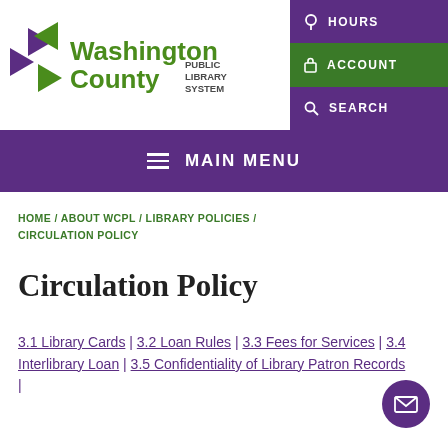[Figure (logo): Washington County Public Library System logo with green and purple triangular arrows graphic]
[Figure (screenshot): Navigation buttons: HOURS (purple), ACCOUNT (green), SEARCH (purple)]
≡ MAIN MENU
HOME / ABOUT WCPL / LIBRARY POLICIES / CIRCULATION POLICY
Circulation Policy
3.1 Library Cards | 3.2 Loan Rules | 3.3 Fees for Services | 3.4 Interlibrary Loan | 3.5 Confidentiality of Library Patron Records |